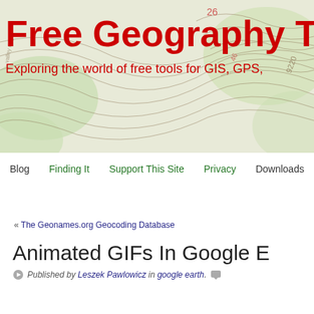[Figure (screenshot): Free Geography Tools website header banner with topographic map background showing contour lines and elevation numbers (26, 9220), with green shaded terrain areas]
Free Geography Tools
Exploring the world of free tools for GIS, GPS,
Blog  Finding It  Support This Site  Privacy  Downloads
« The Geonames.org Geocoding Database
Animated GIFs In Google E
Published by Leszek Pawlowicz in google earth.